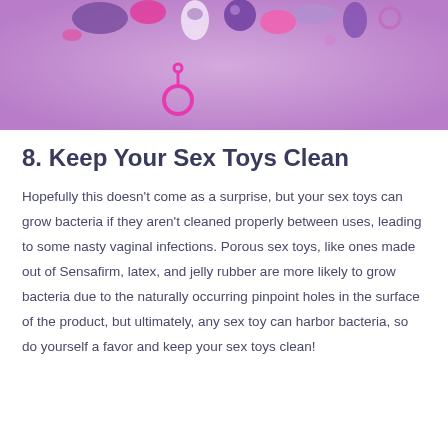[Figure (photo): Decorative image of various sex toys on a purple background]
8. Keep Your Sex Toys Clean
Hopefully this doesn't come as a surprise, but your sex toys can grow bacteria if they aren't cleaned properly between uses, leading to some nasty vaginal infections. Porous sex toys, like ones made out of Sensafirm, latex, and jelly rubber are more likely to grow bacteria due to the naturally occurring pinpoint holes in the surface of the product, but ultimately, any sex toy can harbor bacteria, so do yourself a favor and keep your sex toys clean!